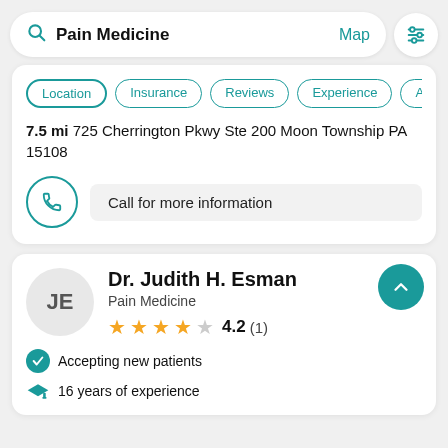Pain Medicine | Map
Location | Insurance | Reviews | Experience | Abo
7.5 mi 725 Cherrington Pkwy Ste 200 Moon Township PA 15108
Call for more information
Dr. Judith H. Esman
Pain Medicine
4.2 (1)
Accepting new patients
16 years of experience